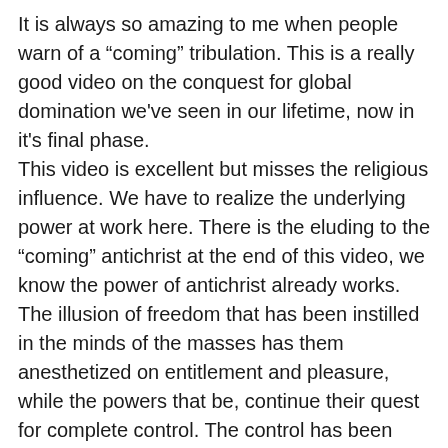It is always so amazing to me when people warn of a “coming” tribulation. This is a really good video on the conquest for global domination we've seen in our lifetime, now in it's final phase. This video is excellent but misses the religious influence. We have to realize the underlying power at work here. There is the eluding to the “coming” antichrist at the end of this video, we know the power of antichrist already works. The illusion of freedom that has been instilled in the minds of the masses has them anesthetized on entitlement and pleasure, while the powers that be, continue their quest for complete control. The control has been accomplished most significantly by the control “Christianity”. American flags on the pulpits of the modern Christian church, only those accounted worthy by the Lord escape the deception, so great if possible it would deceive the